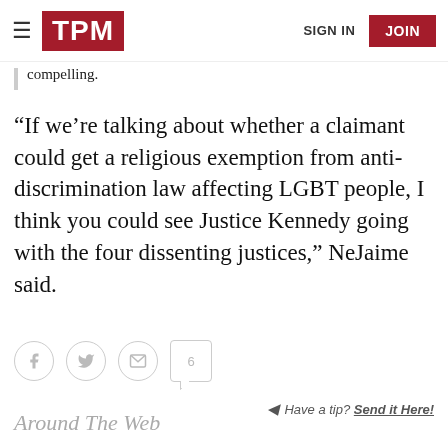TPM | SIGN IN | JOIN
compelling.
“If we’re talking about whether a claimant could get a religious exemption from anti-discrimination law affecting LGBT people, I think you could see Justice Kennedy going with the four dissenting justices,” NeJaime said.
[Figure (other): Social sharing icons: Facebook, Twitter, Email circles and a comment bubble with count 6]
Have a tip? Send it Here!
Around The Web